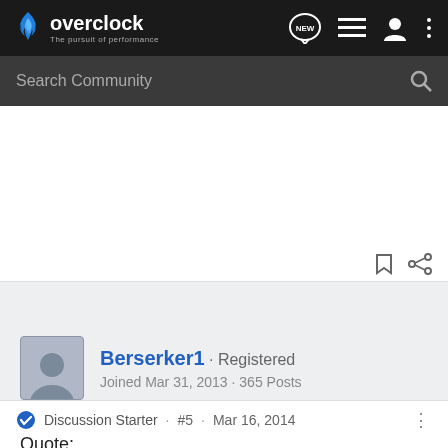overclock · The pursuit of performance
Search Community
Berserker1 · Registered
Joined Mar 31, 2013 · 365 Posts
Discussion Starter · #5 · Mar 16, 2014
Quote:
Originally Posted by metal571